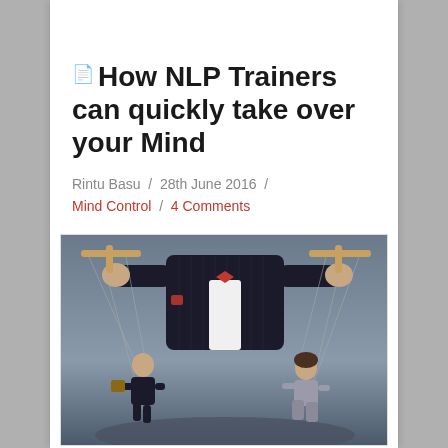How NLP Trainers can quickly take over your Mind
Rintu Basu / 28th June 2016 / Mind Control / 4 Comments
[Figure (photo): A man in a pinstripe suit and red bow tie holding marionette puppet controls, with two smaller puppet figures (a man in a suit with briefcase and a woman in business attire) dangling from strings below. Dark dramatic background suggesting mind control theme.]